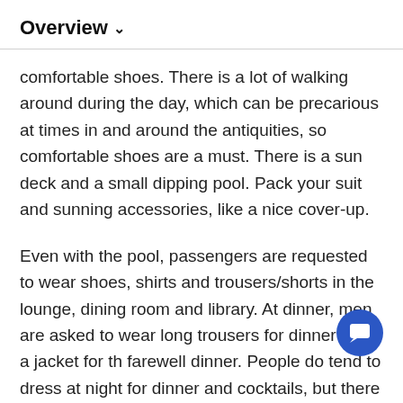Overview ∨
comfortable shoes. There is a lot of walking around during the day, which can be precarious at times in and around the antiquities, so comfortable shoes are a must. There is a sun deck and a small dipping pool. Pack your suit and sunning accessories, like a nice cover-up.
Even with the pool, passengers are requested to wear shoes, shirts and trousers/shorts in the lounge, dining room and library. At dinner, men are asked to wear long trousers for dinner and a jacket for th farewell dinner. People do tend to dress at night for dinner and cocktails, but there is no pressure to do